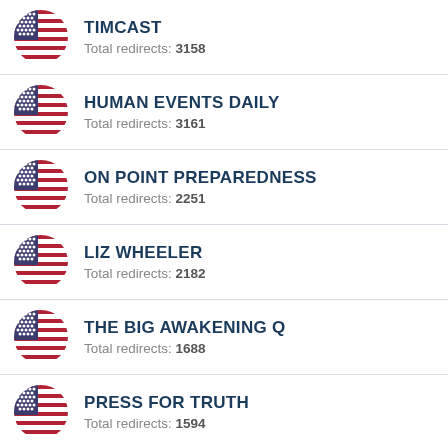TIMCAST
Total redirects: 3158
HUMAN EVENTS DAILY
Total redirects: 3161
ON POINT PREPAREDNESS
Total redirects: 2251
LIZ WHEELER
Total redirects: 2182
THE BIG AWAKENING Q
Total redirects: 1688
PRESS FOR TRUTH
Total redirects: 1594
THE DURAN NEWS
Total redirects: 1598